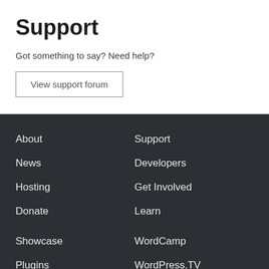Support
Got something to say? Need help?
View support forum
About
News
Hosting
Donate
Support
Developers
Get Involved
Learn
Showcase
WordCamp
Plugins
WordPress.TV
Themes
BuddyPress